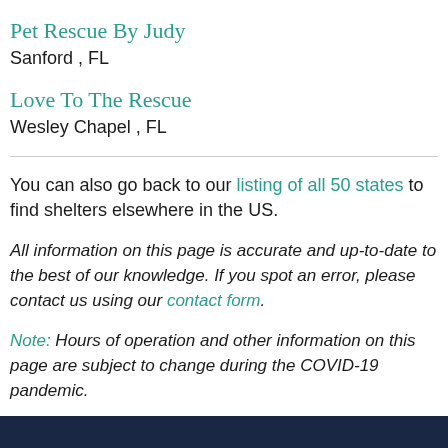Pet Rescue By Judy
Sanford , FL
Love To The Rescue
Wesley Chapel , FL
You can also go back to our listing of all 50 states to find shelters elsewhere in the US.
All information on this page is accurate and up-to-date to the best of our knowledge. If you spot an error, please contact us using our contact form.
Note: Hours of operation and other information on this page are subject to change during the COVID-19 pandemic.